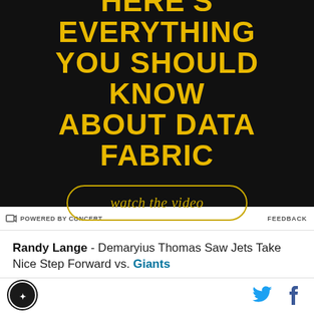[Figure (other): Advertisement banner with dark background showing 'HERE'S EVERYTHING YOU SHOULD KNOW ABOUT DATA FABRIC' in yellow/gold text with a 'watch the video' button in an oval border]
POWERED BY CONCERT   FEEDBACK
Randy Lange - Demaryius Thomas Saw Jets Take Nice Step Forward vs. Giants
Kyle Newman - Bless Austin Changed the Game for